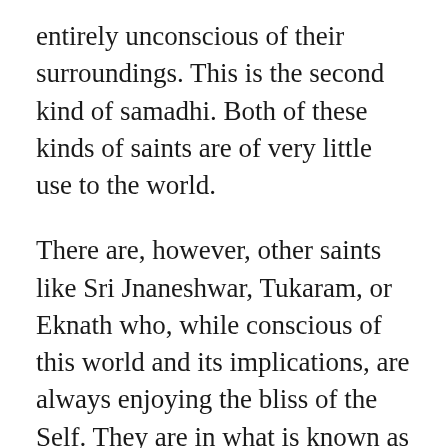entirely unconscious of their surroundings. This is the second kind of samadhi. Both of these kinds of saints are of very little use to the world.
There are, however, other saints like Sri Jnaneshwar, Tukaram, or Eknath who, while conscious of this world and its implications, are always enjoying the bliss of the Self. They are in what is known as sahajawastha. They see unity in diversity, deal with worldly matters in a worldly way, and still inwardly are immersed in the bliss of Self-realization. Such saints alone are useful to the world, and they alone can lead others to the supreme